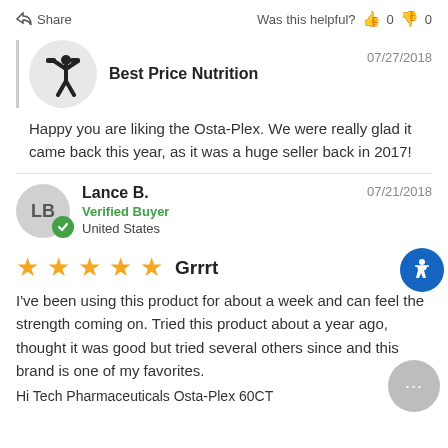Share   Was this helpful?  0  0
[Figure (other): Seller avatar: silhouette of a person lifting weights on grey circle background]
Best Price Nutrition   07/27/2018
Happy you are liking the Osta-Plex. We were really glad it came back this year, as it was a huge seller back in 2017!
[Figure (other): Accessibility icon: wheelchair symbol in white on blue circle]
Lance B.   07/21/2018
Verified Buyer
United States
[Figure (other): Five gold star rating]
Grrrt
I've been using this product for about a week and can feel the strength coming on. Tried this product about a year ago, thought it was good but tried several others since and this brand is one of my favorites.
Hi Tech Pharmaceuticals Osta-Plex 60CT